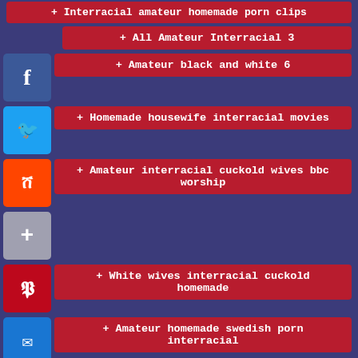+ Interracial amateur homemade porn clips
+ All Amateur Interracial 3
+ Amateur black and white 6
+ Homemade housewife interracial movies
+ Amateur interracial cuckold wives bbc worship
+ White wives interracial cuckold homemade
+ Amateur homemade swedish porn interracial
+ Homemade amature ebony teen with bbc
+ Free homemade amatuer interacial porn
+ Home interracial wife porn video
+ Amateur black and white 7